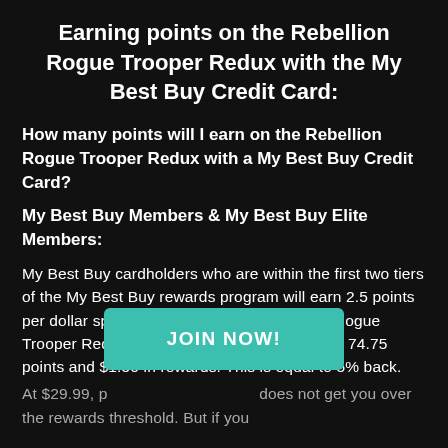Earning points on the Rebellion Rogue Trooper Redux with the My Best Buy Credit Card:
How many points will I earn on the Rebellion Rogue Trooper Redux with a My Best Buy Credit Card?
My Best Buy Members & My Best Buy Elite Members:
My Best Buy cardholders who are within the first two tiers of the My Best Buy rewards program will earn 2.5 points per dollar spent. When buying the Rebellion Rogue Trooper Redux at a price of $29.99 you'll earn 74.75 points and $1.50 in rewards. This is equal to 5% back.
At $29.99, p... does not get you over the rewards threshold. But if you